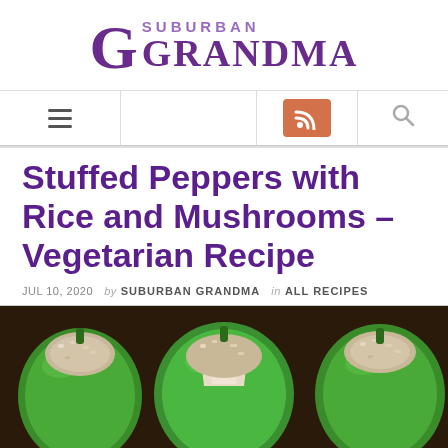Suburban Grandma
Stuffed Peppers with Rice and Mushrooms – Vegetarian Recipe
JUL 10, 2020  by SUBURBAN GRANDMA  in ALL RECIPES
[Figure (photo): Photo of stuffed green bell peppers filled with a rice and mushroom mixture, arranged in a baking dish]